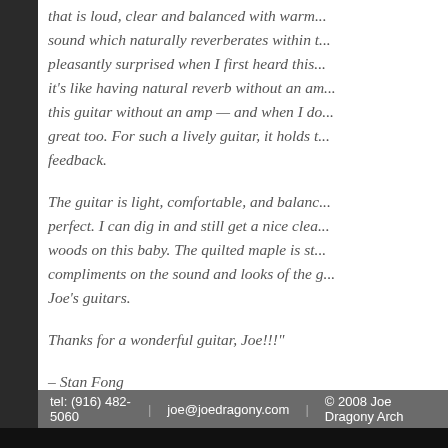that is loud, clear and balanced with warm... sound which naturally reverberates within... pleasantly surprised when I first heard this... it's like having natural reverb without an a... this guitar without an amp — and when I d... great too. For such a lively guitar, it holds t... feedback.
The guitar is light, comfortable, and balan... perfect. I can dig in and still get a nice clea... woods on this baby. The quilted maple is st... compliments on the sound and looks of the g... Joe's guitars.
Thanks for a wonderful guitar, Joe!!!"
– Stan Fong
tel: (916) 482-5060 | joe@joedragony.com | © 2008 Joe Dragony Arch...